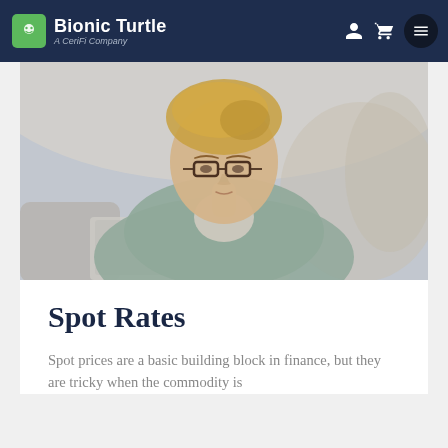Bionic Turtle | A CeriFi Company
[Figure (photo): A blonde woman with glasses looking at a laptop screen, wearing a light blue-green jacket, photographed from slightly above in a softly lit interior setting.]
Spot Rates
Spot prices are a basic building block in finance, but they are tricky when the commodity is